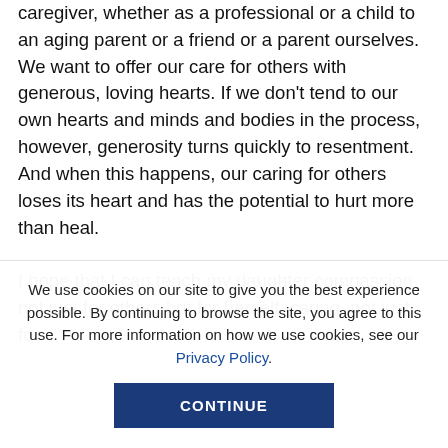caregiver, whether as a professional or a child to an aging parent or a friend or a parent ourselves. We want to offer our care for others with generous, loving hearts. If we don't tend to our own hearts and minds and bodies in the process, however, generosity turns quickly to resentment. And when this happens, our caring for others loses its heart and has the potential to hurt more than heal.

I hope that I can teach my daughter compassion, not just for others but for herself, caring, not just for
We use cookies on our site to give you the best experience possible. By continuing to browse the site, you agree to this use. For more information on how we use cookies, see our Privacy Policy.
CONTINUE